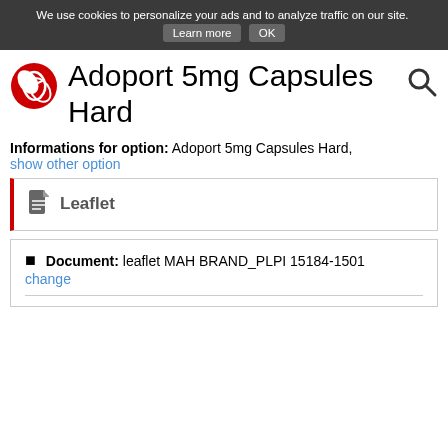We use cookies to personalize your ads and to analyze traffic on our site. Learn more  OK
Adoport 5mg Capsules Hard
Informations for option: Adoport 5mg Capsules Hard, show other option
Leaflet
Document: leaflet MAH BRAND_PLPI 15184-1501
change